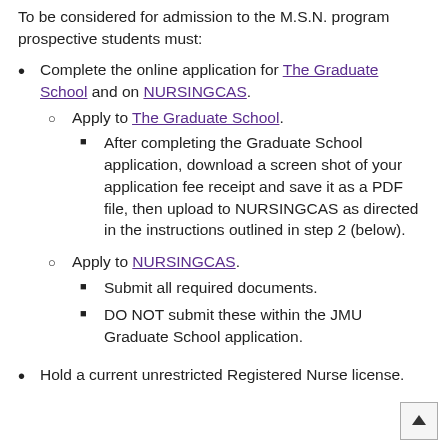To be considered for admission to the M.S.N. program prospective students must:
Complete the online application for The Graduate School and on NURSINGCAS.
Apply to The Graduate School.
After completing the Graduate School application, download a screen shot of your application fee receipt and save it as a PDF file, then upload to NURSINGCAS as directed in the instructions outlined in step 2 (below).
Apply to NURSINGCAS.
Submit all required documents.
DO NOT submit these within the JMU Graduate School application.
Hold a current unrestricted Registered Nurse license.